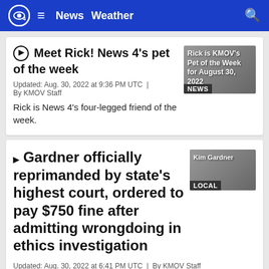CBS4  ≡  News  Weather  🔍
▶ Meet Rick! News 4's pet of the week
Updated: Aug. 30, 2022 at 9:36 PM UTC  |  By KMOV Staff
Rick is News 4's four-legged friend of the week.
▶ Gardner officially reprimanded by state's highest court, ordered to pay $750 fine after admitting wrongdoing in ethics investigation
Updated: Aug. 30, 2022 at 6:41 PM UTC  |  By KMOV Staff
Tuesday, St. Louis City Circuit Attorney Kim Gardner was ordered to pay a fine for her handling the criminal case against former Gov. Eric Grietens.